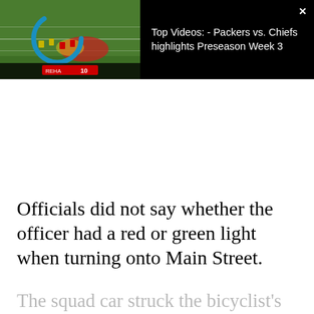[Figure (screenshot): Video player thumbnail showing NFL football game (Packers vs Chiefs) with a loading spinner overlay on the left, and video title text on the right on a black background. A close (X) button is in the top right. Title reads: Top Videos: - Packers vs. Chiefs highlights Preseason Week 3]
Officials did not say whether the officer had a red or green light when turning onto Main Street.
The squad car struck the bicyclist's left leg and the man fell off the bike onto his shoulder.